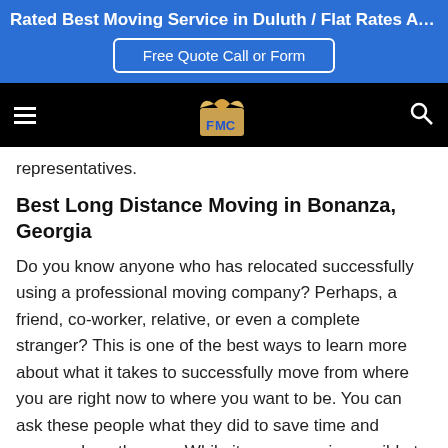Rated Best Moving Service in Duluth / Flat Rates Available / F...
Free Quote Call or Form
representatives.
Best Long Distance Moving in Bonanza, Georgia
Do you know anyone who has relocated successfully using a professional moving company? Perhaps, a friend, co-worker, relative, or even a complete stranger? This is one of the best ways to learn more about what it takes to successfully move from where you are right now to where you want to be. You can ask these people what they did to save time and money along the way. While it may seem impossible to relocate 50 miles or more, certain things will change